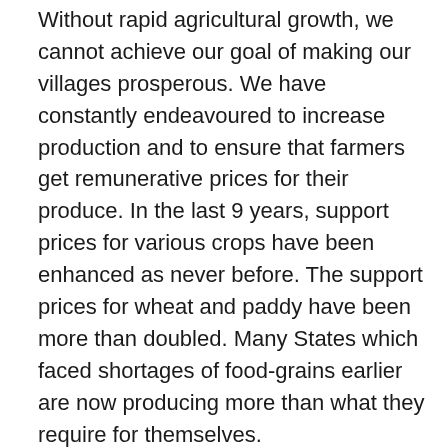Without rapid agricultural growth, we cannot achieve our goal of making our villages prosperous. We have constantly endeavoured to increase production and to ensure that farmers get remunerative prices for their produce. In the last 9 years, support prices for various crops have been enhanced as never before. The support prices for wheat and paddy have been more than doubled. Many States which faced shortages of food-grains earlier are now producing more than what they require for themselves.
The average annual rate of agricultural growth in the 11th Plan was 3.6, which is more than both the 9th and 10th Plan levels.
We now see clear indications of enhanced economic prosperity in our rural areas. In the period 2004 to 2011,